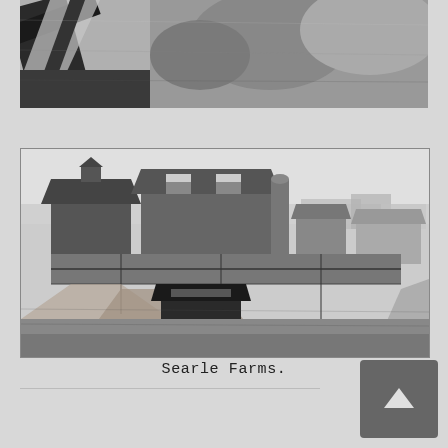[Figure (photo): Black and white historical photograph cropped at top, showing wooden fence or equipment structures in close-up, partial view.]
[Figure (photo): Black and white historical aerial/elevated photograph of Searle Farms showing farm buildings including barns with peaked roofs, a silo, various outbuildings, fenced paddocks, and a small dark shed structure in the foreground.]
Searle Farms.